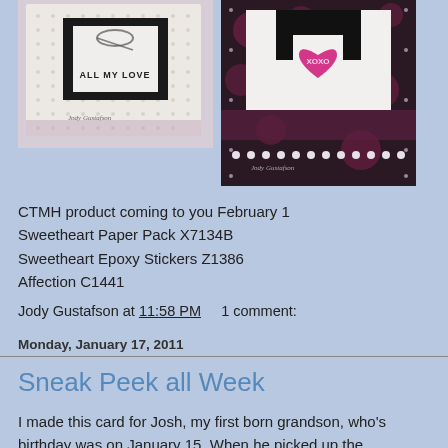[Figure (photo): Left craft card image showing 'ALL MY LOVE' stamped text on light background with dotted texture and ribbon]
[Figure (photo): Right craft card image showing heart with XOXO on dark floral pink/black background]
CTMH product coming to you February 1
Sweetheart Paper Pack X7134B
Sweetheart Epoxy Stickers Z1386
Affection C1441
Jody Gustafson at 11:58 PM    1 comment:
Monday, January 17, 2011
Sneak Peek all Week
I made this card for Josh, my first born grandson, who's birthday was on January 15. When he picked up the